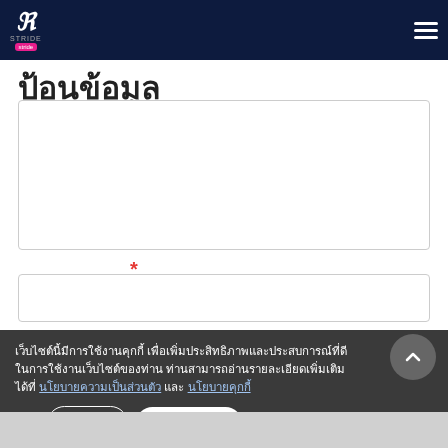R STRIDE (logo with hamburger menu)
[Figure (screenshot): Partial heading text cut off at top of content area]
[Figure (screenshot): Large white textarea input box]
*
[Figure (screenshot): Single-line text input box]
เว็บไซต์นี้มีการใช้งานคุกกี้ เพื่อเพิ่มประสิทธิภาพและประสบการณ์ที่ดีในการใช้งานเว็บไซต์ของท่าน ท่านสามารถอ่านรายละเอียดเพิ่มเติมได้ที่ นโยบายความเป็นส่วนตัว และ นโยบายคุกกี้
5 - 1
ตั้งค่าคุกกี้
ยอมรับทั้งหมด